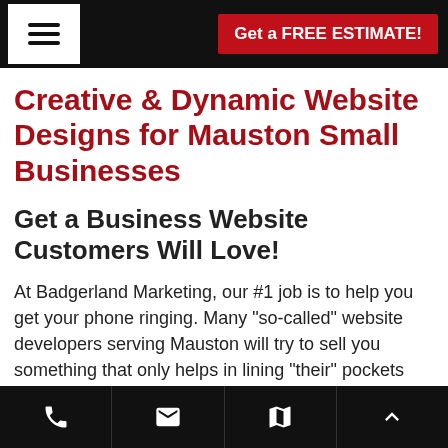≡  Get a FREE ESTIMATE!
Creative & Dynamic Website Designs for Mauston Small Businesses
Get a Business Website Customers Will Love!
At Badgerland Marketing, our #1 job is to help you get your phone ringing. Many "so-called" website developers serving Mauston will try to sell you something that only helps in lining "their" pockets and not yours. They slap some website template up, charge you a couple thousand dollars and wish you
phone | email | map | up